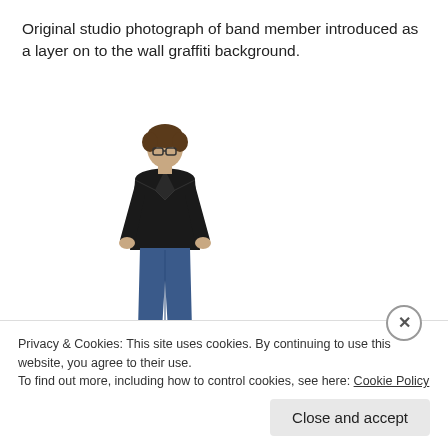Original studio photograph of band member introduced as a layer on to the wall graffiti background.
[Figure (photo): Full-body studio photograph of a person wearing a black leather jacket and jeans, standing against a white background]
Poster for album launch
Some elements during this process with the inclusion of...
Privacy & Cookies: This site uses cookies. By continuing to use this website, you agree to their use.
To find out more, including how to control cookies, see here: Cookie Policy
Close and accept